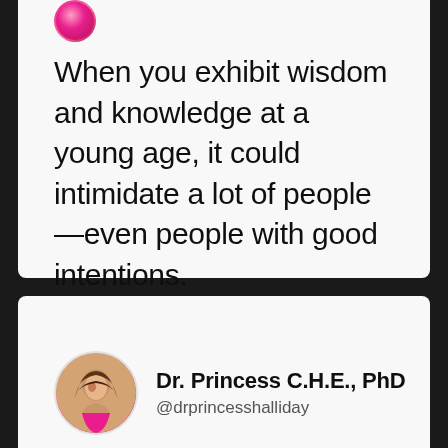[Figure (illustration): Partial circular avatar icon at top of tweet card, showing a colorful profile image]
When you exhibit wisdom and knowledge at a young age, it could intimidate a lot of people—even people with good intentions.
[Figure (photo): Round profile photo of Dr. Princess C.H.E., PhD — a young woman with long hair wearing pink]
Dr. Princess C.H.E., PhD
@drprincesshalliday